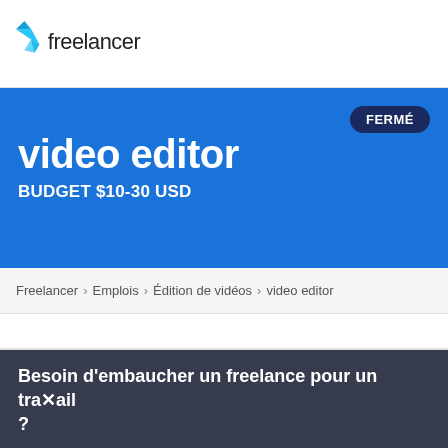[Figure (logo): Freelancer logo: blue geometric bird/arrow icon with 'freelancer' wordmark in dark text]
video editor
BUDGET $10-30 USD
FERMÉ
Freelancer › Emplois › Édition de vidéos › video editor
Besoin d'embaucher un freelance pour un travail ?
Publier un projet